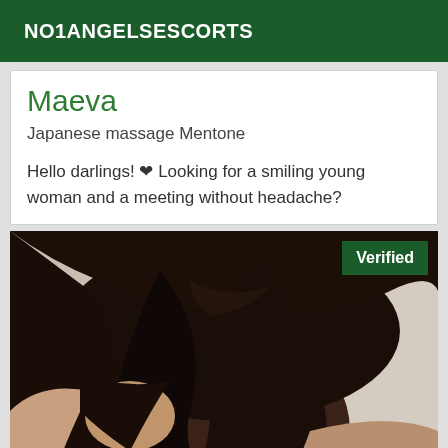NO1ANGELSESCORTS
Maeva
Japanese massage Mentone
Hello darlings! ❤ Looking for a smiling young woman and a meeting without headache?
[Figure (photo): Photo of a young woman with dark hair leaning forward, face partially visible, with a Verified badge in the top right corner]